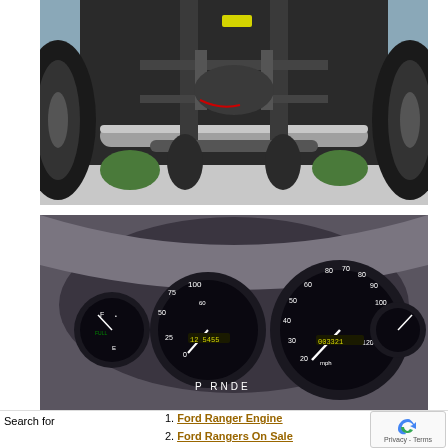[Figure (photo): Underside/undercarriage view of a Ford Ranger pickup truck, showing exhaust pipe, suspension components, tires, and chassis from below]
[Figure (photo): Interior dashboard view of a Ford Ranger showing instrument cluster with speedometer, tachometer, fuel gauge, and gear selector showing P R N D E]
Search for
1. Ford Ranger Engine
2. Ford Rangers On Sale